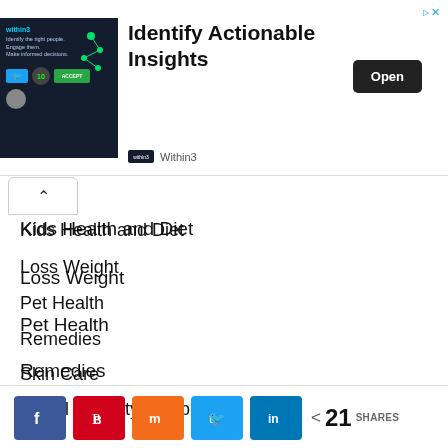[Figure (screenshot): Advertisement banner for Within3 'Identify Actionable Insights' with an Open button]
Kids Health and Diet
Loss Weight
Pet Health
Remedies
Skin Care
Social Security Disability
< 21 SHARES